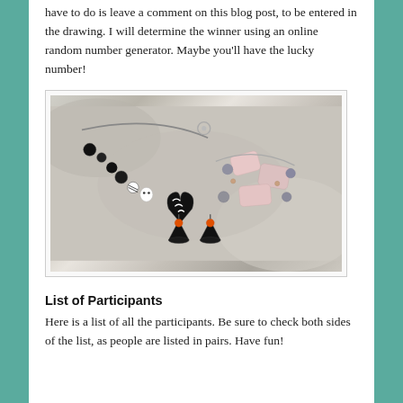have to do is leave a comment on this blog post, to be entered in the drawing.  I will determine the winner using an online random number generator.  Maybe you'll have the lucky number!
[Figure (photo): Photo of handmade jewelry including a black and white beaded necklace with a swirled heart pendant and ghost beads, a rose quartz and gray pearl bracelet, and a pair of small orange and black witch hat earrings, all displayed on a stone surface.]
List of Participants
Here is a list of all the participants.  Be sure to check both sides of the list, as people are listed in pairs.  Have fun!